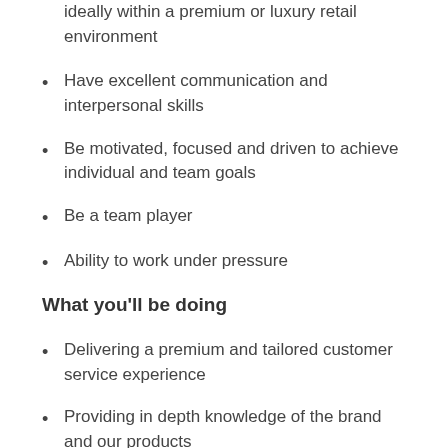ideally within a premium or luxury retail environment
Have excellent communication and interpersonal skills
Be motivated, focused and driven to achieve individual and team goals
Be a team player
Ability to work under pressure
What you'll be doing
Delivering a premium and tailored customer service experience
Providing in depth knowledge of the brand and our products